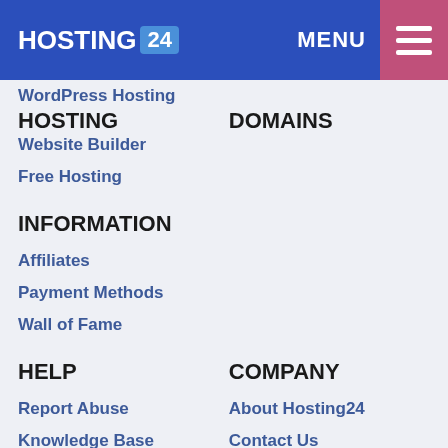HOSTING 24  MENU ☰
WordPress Hosting
HOSTING
DOMAINS
Website Builder
Free Hosting
INFORMATION
Affiliates
Payment Methods
Wall of Fame
HELP
COMPANY
Report Abuse
About Hosting24
Knowledge Base
Contact Us
Blog